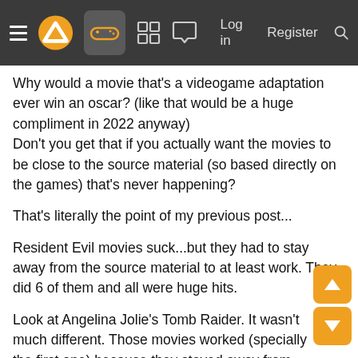Navigation bar with menu, logo, controller icon, grid icon, chat icon, Log in, Register, Search
Why would a movie that's a videogame adaptation ever win an oscar? (like that would be a huge compliment in 2022 anyway)
Don't you get that if you actually want the movies to be close to the source material (so based directly on the games) that's never happening?
That's literally the point of my previous post...
Resident Evil movies suck...but they had to stay away from the source material to at least work. They did 6 of them and all were huge hits.
Look at Angelina Jolie's Tomb Raider. It wasn't much different. Those movies worked (specially the first one) because they stayed away from the source material. That movie was only recently surpassed at the BO domestically (and not even counting with inflation).
They are having much more trouble in doing a sequel for the